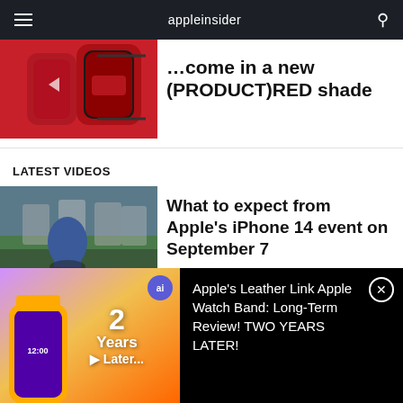appleinsider
(PRODUCT)RED shade
LATEST VIDEOS
What to expect from Apple's iPhone 14 event on September 7
Razer Kishi V2 review:
[Figure (screenshot): Video thumbnail of Apple Watch in red]
[Figure (screenshot): Tim Cook presenting at Apple event with iPhones]
[Figure (screenshot): Apple Watch with yellow leather band - 2 Years Later video]
Apple's Leather Link Apple Watch Band: Long-Term Review! TWO YEARS LATER!